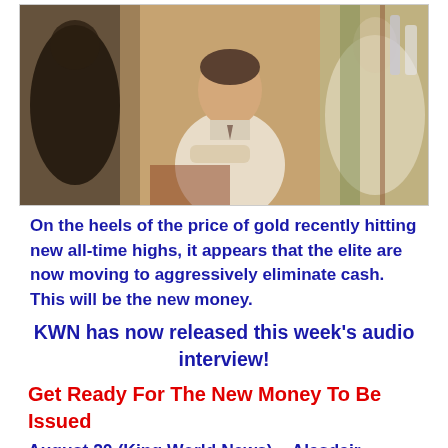[Figure (photo): Scene from The Great Gatsby film showing a well-dressed man sitting in an ornate room, with blurred figures in the background]
On the heels of the price of gold recently hitting new all-time highs, it appears that the elite are now moving to aggressively eliminate cash. This will be the new money.
KWN has now released this week's audio interview!
Get Ready For The New Money To Be Issued
August 20 (King World News) – Alasdair